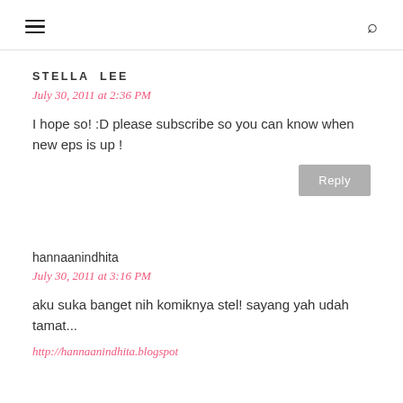≡  🔍
STELLA LEE
July 30, 2011 at 2:36 PM
I hope so! :D please subscribe so you can know when new eps is up !
Reply
hannaanindhita
July 30, 2011 at 3:16 PM
aku suka banget nih komiknya stel! sayang yah udah tamat...
http://hannaanindhita.blogspot